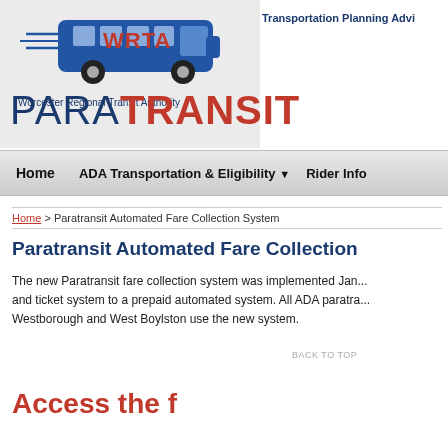[Figure (logo): WRTA Worcester Regional Transit Authority logo with bus graphic and PARATRANSIT title]
Transportation Planning Advi...
Home   ADA Transportation & Eligibility ▾   Rider Info...
Home > Paratransit Automated Fare Collection System
Paratransit Automated Fare Collection...
The new Paratransit fare collection system was implemented Jan... and ticket system to a prepaid automated system. All ADA paratra... Westborough and West Boylston use the new system.
Access the f...